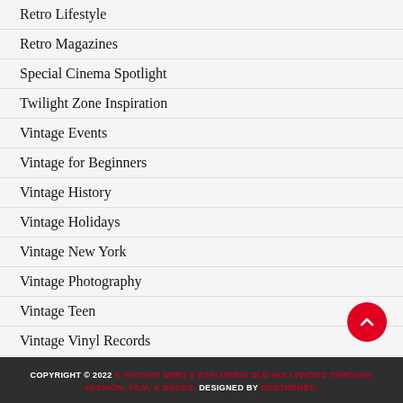Retro Lifestyle
Retro Magazines
Special Cinema Spotlight
Twilight Zone Inspiration
Vintage Events
Vintage for Beginners
Vintage History
Vintage Holidays
Vintage New York
Vintage Photography
Vintage Teen
Vintage Vinyl Records
COPYRIGHT © 2022 A VINTAGE NERD || EXPLORING OLD HOLLYWOOD THROUGH FASHION, FILM, & BOOKS. DESIGNED BY ODDTHEMES.